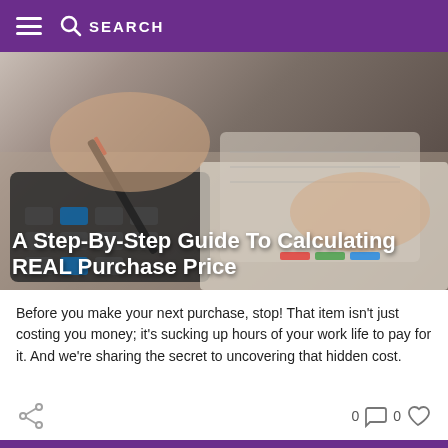SEARCH
[Figure (photo): Person's hands using a calculator and pen, with a notebook and papers with charts visible on a desk, seen from above at an angle.]
A Step-By-Step Guide To Calculating REAL Purchase Price
Before you make your next purchase, stop! That item isn't just costing you money; it's sucking up hours of your work life to pay for it. And we're sharing the secret to uncovering that hidden cost.
0 0